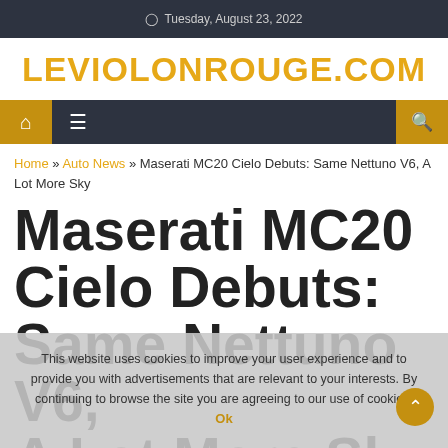Tuesday, August 23, 2022
LEVIOLONROUGE.COM
[Figure (screenshot): Navigation bar with home icon, hamburger menu icon, and search icon on dark background with gold accent boxes]
Home » Auto News » Maserati MC20 Cielo Debuts: Same Nettuno V6, A Lot More Sky
Maserati MC20 Cielo Debuts: Same Nettuno V6, A Lot More Sky
This website uses cookies to improve your user experience and to provide you with advertisements that are relevant to your interests. By continuing to browse the site you are agreeing to our use of cookies.